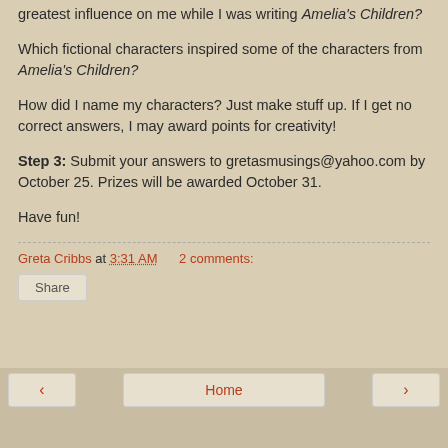greatest influence on me while I was writing Amelia's Children?
Which fictional characters inspired some of the characters from Amelia's Children?
How did I name my characters? Just make stuff up. If I get no correct answers, I may award points for creativity!
Step 3: Submit your answers to gretasmusings@yahoo.com by October 25. Prizes will be awarded October 31.
Have fun!
Greta Cribbs at 3:31 AM    2 comments:
Share